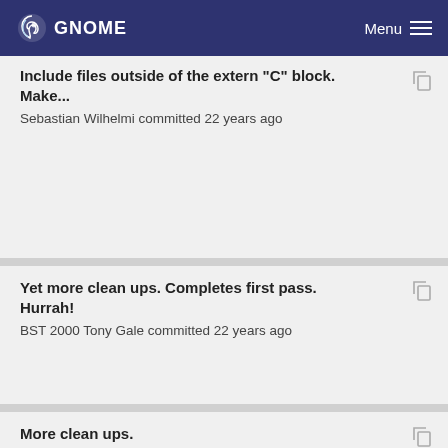GNOME  Menu
Include files outside of the extern "C" block. Make...
Sebastian Wilhelmi committed 22 years ago
Yet more clean ups. Completes first pass. Hurrah!
BST 2000 Tony Gale committed 22 years ago
More clean ups.
BST 2000 Tony Gale committed 22 years ago